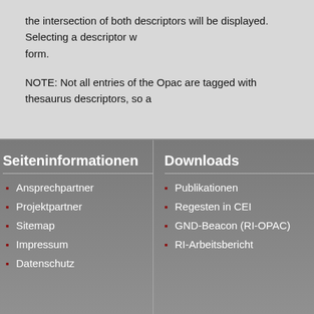the intersection of both descriptors will be displayed. Selecting a descriptor will form.
NOTE: Not all entries of the Opac are tagged with thesaurus descriptors, so a
Seiteninformationen
Downloads
Ansprechpartner
Projektpartner
Sitemap
Impressum
Datenschutz
Publikationen
Regesten in CEI
GND-Beacon (RI-OPAC)
RI-Arbeitsbericht